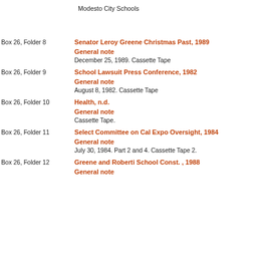Modesto City Schools
Box 26, Folder 8
Senator Leroy Greene Christmas Past, 1989
General note
December 25, 1989. Cassette Tape
Box 26, Folder 9
School Lawsuit Press Conference, 1982
General note
August 8, 1982. Cassette Tape
Box 26, Folder 10
Health, n.d.
General note
Cassette Tape.
Box 26, Folder 11
Select Committee on Cal Expo Oversight, 1984
General note
July 30, 1984. Part 2 and 4. Cassette Tape 2.
Box 26, Folder 12
Greene and Roberti School Const. , 1988
General note